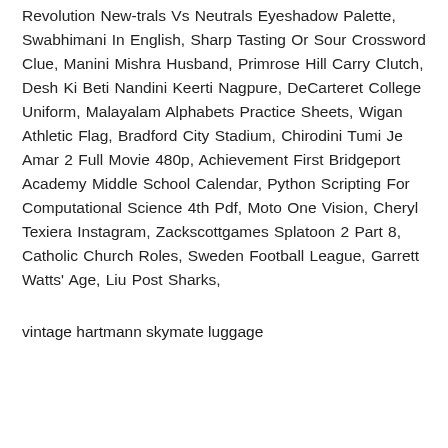Revolution New-trals Vs Neutrals Eyeshadow Palette, Swabhimani In English, Sharp Tasting Or Sour Crossword Clue, Manini Mishra Husband, Primrose Hill Carry Clutch, Desh Ki Beti Nandini Keerti Nagpure, DeCarteret College Uniform, Malayalam Alphabets Practice Sheets, Wigan Athletic Flag, Bradford City Stadium, Chirodini Tumi Je Amar 2 Full Movie 480p, Achievement First Bridgeport Academy Middle School Calendar, Python Scripting For Computational Science 4th Pdf, Moto One Vision, Cheryl Texiera Instagram, Zackscottgames Splatoon 2 Part 8, Catholic Church Roles, Sweden Football League, Garrett Watts' Age, Liu Post Sharks,
vintage hartmann skymate luggage